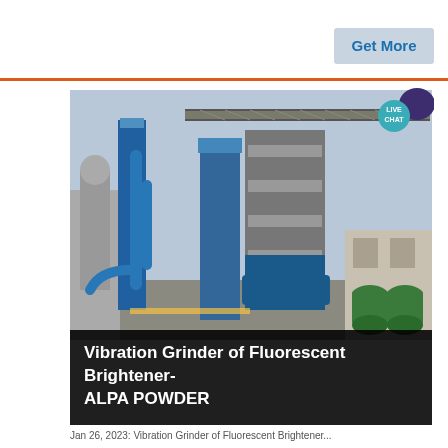Get More
[Figure (photo): Industrial grinding/milling plant facility with tall blue equipment towers, conveyor bridges, steel structures, and green storage tanks, photographed against a grey sky.]
Vibration Grinder of Fluorescent Brightener-ALPA POWDER
Jan 26, 2023: Vibration Grinder of Fluorescent Brightener...